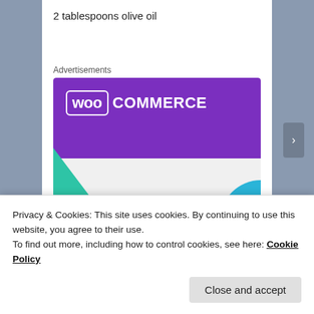2 tablespoons olive oil
Advertisements
[Figure (screenshot): WooCommerce advertisement banner showing purple header with WooCommerce logo, green and teal triangle decorations, and text 'How to start selling subscriptions online']
Privacy & Cookies: This site uses cookies. By continuing to use this website, you agree to their use.
To find out more, including how to control cookies, see here: Cookie Policy
Close and accept